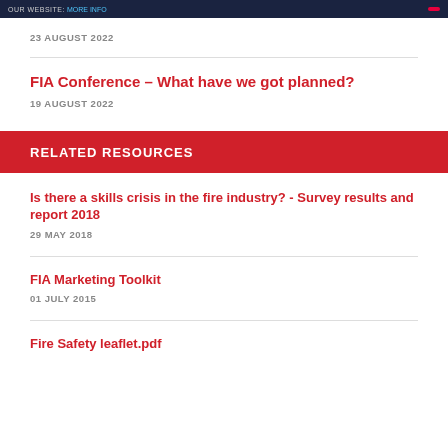OUR WEBSITE: MORE INFO
23 AUGUST 2022
FIA Conference – What have we got planned?
19 AUGUST 2022
RELATED RESOURCES
Is there a skills crisis in the fire industry? - Survey results and report 2018
29 MAY 2018
FIA Marketing Toolkit
01 JULY 2015
Fire Safety leaflet.pdf